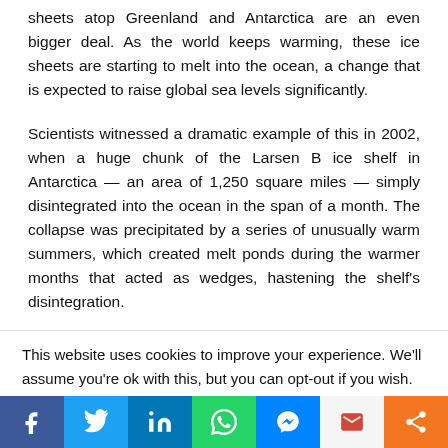sheets atop Greenland and Antarctica are an even bigger deal. As the world keeps warming, these ice sheets are starting to melt into the ocean, a change that is expected to raise global sea levels significantly.
Scientists witnessed a dramatic example of this in 2002, when a huge chunk of the Larsen B ice shelf in Antarctica — an area of 1,250 square miles — simply disintegrated into the ocean in the span of a month. The collapse was precipitated by a series of unusually warm summers, which created melt ponds during the warmer months that acted as wedges, hastening the shelf's disintegration.
This website uses cookies to improve your experience. We'll assume you're ok with this, but you can opt-out if you wish.
[Figure (infographic): Social media share bar with icons for Facebook, Twitter, LinkedIn, WhatsApp, Messenger, Gmail, and a share icon]